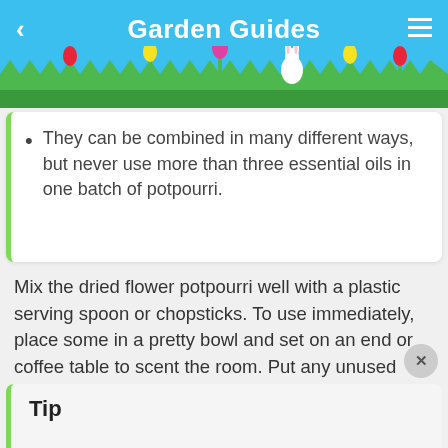Garden Guides
[Figure (illustration): Garden scene with grass, colorful flowers (tulips), a white rabbit, and blue sky background used as app header decoration]
They can be combined in many different ways, but never use more than three essential oils in one batch of potpourri.
Mix the dried flower potpourri well with a plastic serving spoon or chopsticks. To use immediately, place some in a pretty bowl and set on an end or coffee table to scent the room. Put any unused portion in airtight glass jars or in resealable plastic bags to keep the scent strong. When potpourri loses its scent, just add 3 or 4 more drops of the essential oil and mix.
Tip